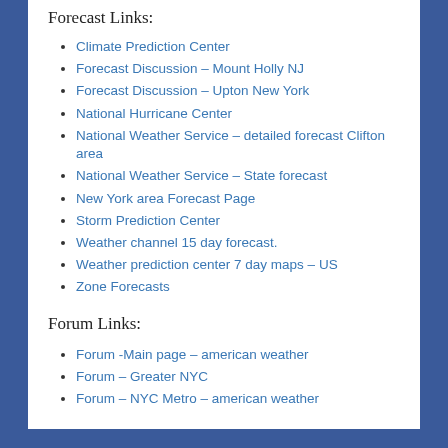Forecast Links:
Climate Prediction Center
Forecast Discussion – Mount Holly NJ
Forecast Discussion – Upton New York
National Hurricane Center
National Weather Service – detailed forecast Clifton area
National Weather Service – State forecast
New York area Forecast Page
Storm Prediction Center
Weather channel 15 day forecast.
Weather prediction center 7 day maps – US
Zone Forecasts
Forum Links:
Forum -Main page – american weather
Forum – Greater NYC
Forum – NYC Metro – american weather